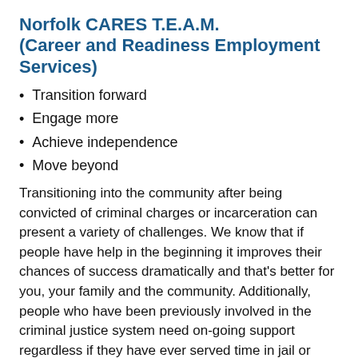Norfolk CARES T.E.A.M. (Career and Readiness Employment Services)
Transition forward
Engage more
Achieve independence
Move beyond
Transitioning into the community after being convicted of criminal charges or incarceration can present a variety of challenges. We know that if people have help in the beginning it improves their chances of success dramatically and that's better for you, your family and the community. Additionally, people who have been previously involved in the criminal justice system need on-going support regardless if they have ever served time in jail or prison or the length of time passed since conviction